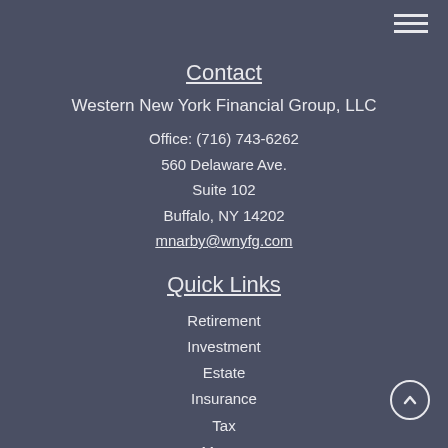Contact
Western New York Financial Group, LLC
Office: (716) 743-6262
560 Delaware Ave.
Suite 102
Buffalo, NY 14202
mnarby@wnyfg.com
Quick Links
Retirement
Investment
Estate
Insurance
Tax
Money
Lifestyle
All Articles
All Videos